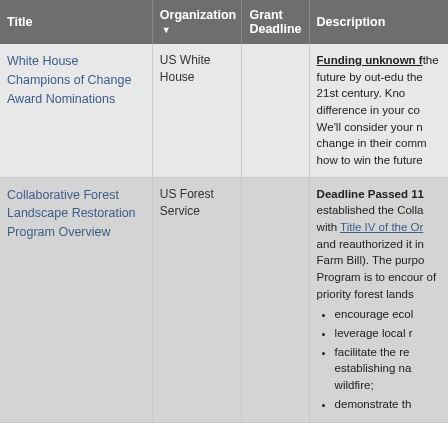| Title | Organization ▼ | Grant Deadline | Description |
| --- | --- | --- | --- |
| White House Champions of Change Award Nominations | US White House |  | Funding unknown f... the future by out-edu... the 21st century. Kno... difference in your co... We'll consider your n... change in their comm... how to win the future... |
| Collaborative Forest Landscape Restoration Program Overview | US Forest Service |  | Deadline Passed 11... established the Colla... with Title IV of the Or... and reauthorized it in... Farm Bill). The purpo... Program is to encour... of priority forest lands... • encourage ecol... • leverage local r... • facilitate the re... establishing na... wildfire; • demonstrate th... |